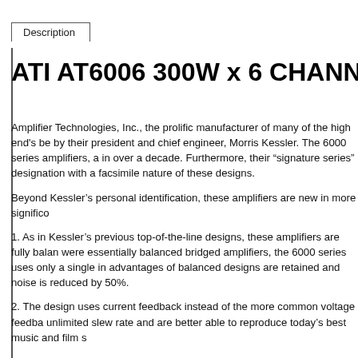Description
ATI AT6006 300W x 6 CHANNEL SIGNA
Amplifier Technologies, Inc., the prolific manufacturer of many of the high end's be by their president and chief engineer, Morris Kessler. The 6000 series amplifiers, a in over a decade. Furthermore, their "signature series" designation with a facsimile nature of these designs.
Beyond Kessler's personal identification, these amplifiers are new in more significo
1. As in Kessler's previous top-of-the-line designs, these amplifiers are fully balan were essentially balanced bridged amplifiers, the 6000 series uses only a single in advantages of balanced designs are retained and noise is reduced by 50%.
2. The design uses current feedback instead of the more common voltage feedba unlimited slew rate and are better able to reproduce today's best music and film s
3. Kessler used Thermaltrak output devices for the 6000 series. Unlike traditional sinks track the amplifiers operating conditions and use the details to adjust bias, T same package as the output transistor. The results: bias is optimized in real-time.
4. The 6000 series use dual DC servos to track and maintain DC offset. The resul